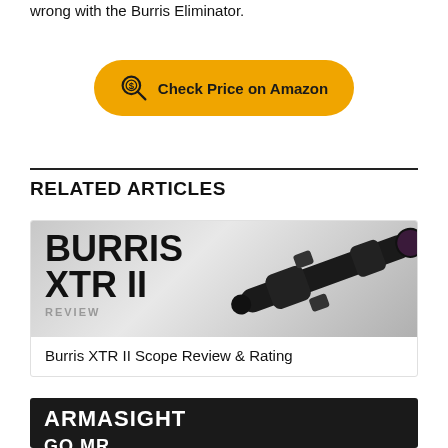wrong with the Burris Eliminator.
[Figure (other): Yellow/orange rounded button with magnifying glass dollar sign icon and text 'Check Price on Amazon']
RELATED ARTICLES
[Figure (photo): Burris XTR II rifle scope review image showing scope on gray background with bold text 'BURRIS XTR II REVIEW']
Burris XTR II Scope Review & Rating
[Figure (photo): Armasight product image on dark background with white bold text 'ARMASIGHT GO MR']